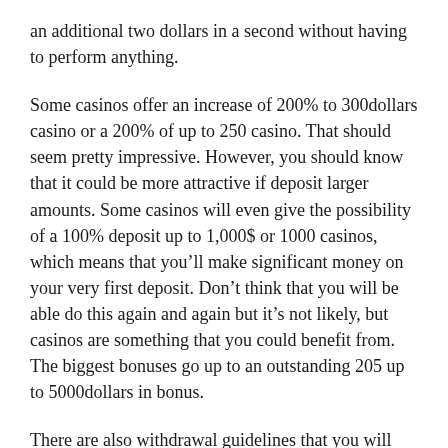an additional two dollars in a second without having to perform anything.
Some casinos offer an increase of 200% to 300dollars casino or a 200% of up to 250 casino. That should seem pretty impressive. However, you should know that it could be more attractive if deposit larger amounts. Some casinos will even give the possibility of a 100% deposit up to 1,000$ or 1000 casinos, which means that you’ll make significant money on your very first deposit. Don’t think that you will be able do this again and again but it’s not likely, but casinos are something that you could benefit from. The biggest bonuses go up to an outstanding 205 up to 5000dollars in bonus.
There are also withdrawal guidelines that you will encounter when you make the first deposit at a casino, however, it’s a good idea for you.